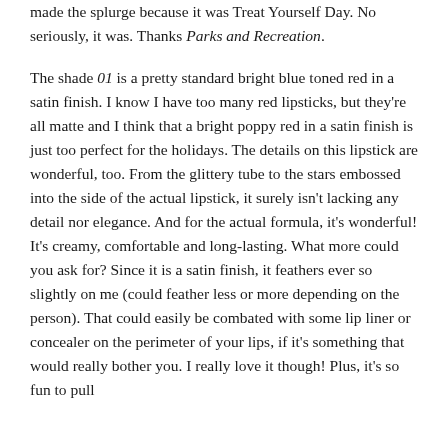made the splurge because it was Treat Yourself Day. No seriously, it was. Thanks Parks and Recreation.
The shade 01 is a pretty standard bright blue toned red in a satin finish. I know I have too many red lipsticks, but they're all matte and I think that a bright poppy red in a satin finish is just too perfect for the holidays. The details on this lipstick are wonderful, too. From the glittery tube to the stars embossed into the side of the actual lipstick, it surely isn't lacking any detail nor elegance. And for the actual formula, it's wonderful! It's creamy, comfortable and long-lasting. What more could you ask for? Since it is a satin finish, it feathers ever so slightly on me (could feather less or more depending on the person). That could easily be combated with some lip liner or concealer on the perimeter of your lips, if it's something that would really bother you. I really love it though! Plus, it's so fun to pull